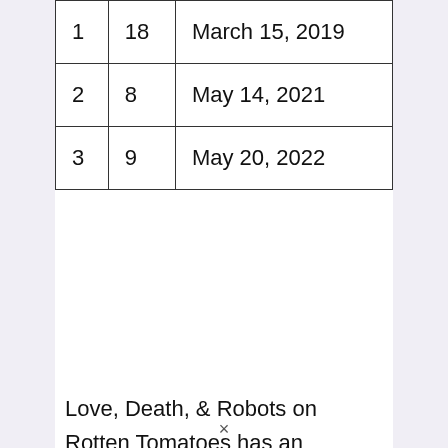| 1 | 18 | March 15, 2019 |
| 2 | 8 | May 14, 2021 |
| 3 | 9 | May 20, 2022 |
Love, Death, & Robots on Rotten Tomatoes has an average approval rating of 87%.